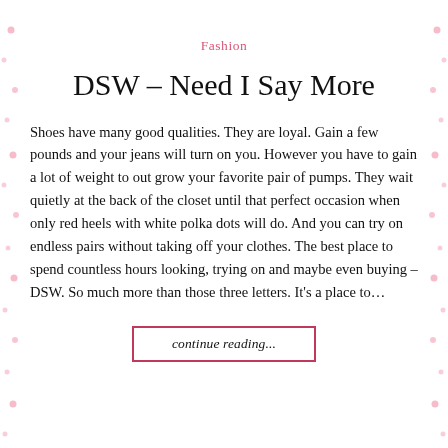Fashion
DSW – Need I Say More
Shoes have many good qualities.  They are loyal.  Gain a few pounds and your jeans will turn on you.  However you have to gain a lot of weight to out grow your favorite pair of pumps.  They wait quietly at the back of the closet until that perfect occasion when only red heels with white polka dots will do.  And you can try on endless pairs without taking off your clothes. The best place to spend countless hours looking, trying on and maybe even buying – DSW. So much more than those three letters. It's a place to…
continue reading...